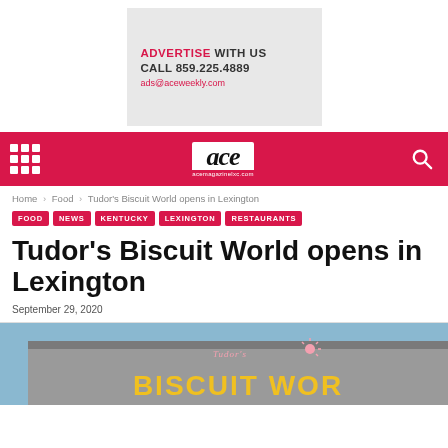[Figure (other): Advertisement banner: ADVERTISE WITH US / CALL 859.225.4889 / ads@aceweekly.com on a light gray background]
ace acemagazinelxc.com
Home › Food › Tudor's Biscuit World opens in Lexington
FOOD
NEWS
KENTUCKY
LEXINGTON
RESTAURANTS
Tudor's Biscuit World opens in Lexington
September 29, 2020
[Figure (photo): Photo of Tudor's Biscuit World sign with yellow letters on a gray building exterior, blue sky in the background]